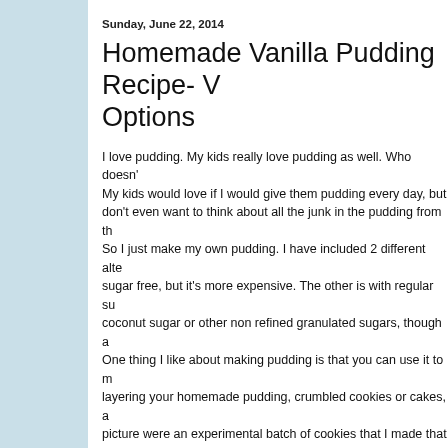Sunday, June 22, 2014
Homemade Vanilla Pudding Recipe- V... Options
I love pudding. My kids really love pudding as well. Who doesn't? My kids would love if I would give them pudding every day, but I don't even want to think about all the junk in the pudding from th... So I just make my own pudding. I have included 2 different alte... sugar free, but it's more expensive. The other is with regular su... coconut sugar or other non refined granulated sugars, though a... One thing I like about making pudding is that you can use it to m... layering your homemade pudding, crumbled cookies or cakes, a... picture were an experimental batch of cookies that I made that ... into a parfait they went! I've also made parfait with cakes that w... and homemade plum jam that I made with free plums that I pick... Both recipes for pudding that I am posting are egg free, and bo... milk in place of the dairy milk. Of course, I use homemade dairy free milks to keep down the p... yourself and/or don't mind the price increase, you can certainly ... making these with other non dairy milks, such as rice or oat or s...
Homemade Vanilla Pudding Recipe- Vegan, Refine...